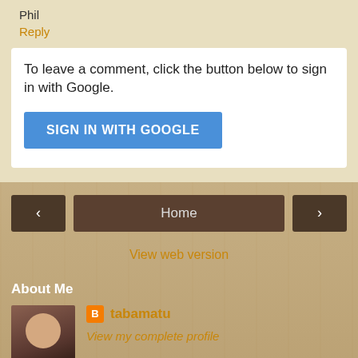Phil
Reply
To leave a comment, click the button below to sign in with Google.
SIGN IN WITH GOOGLE
< Home >
View web version
About Me
[Figure (photo): Profile photo of tabamatu, a bald man smiling, wearing a dark top]
tabamatu
View my complete profile
Powered by Blogger.